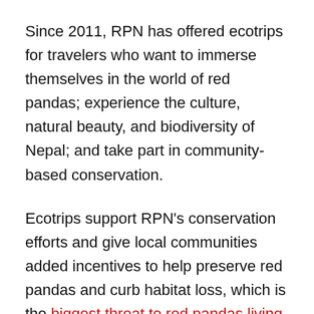Since 2011, RPN has offered ecotrips for travelers who want to immerse themselves in the world of red pandas; experience the culture, natural beauty, and biodiversity of Nepal; and take part in community-based conservation.
Ecotrips support RPN's conservation efforts and give local communities added incentives to help preserve red pandas and curb habitat loss, which is the biggest threat to red pandas living in Nepal. RPN uses a multi-tiered conservation approach. Of these efforts, ecotourism is emerging as the most effective